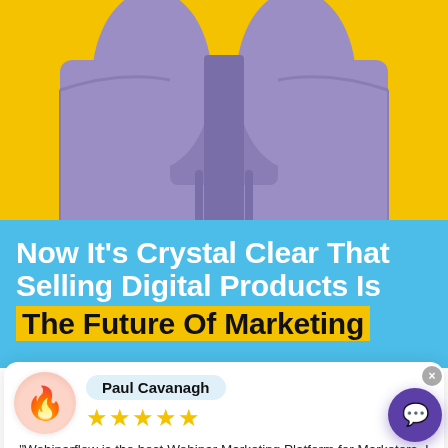[Figure (photo): Person wearing a purple/lavender hoodie against a yellow background, torso visible from shoulders to mid-chest]
Now It's Crystal Clear That Selling Digital Products Is The Future Of Marketing
[Figure (infographic): Review card with flame emoji avatar, reviewer name Paul Cavanagh, 5 gold stars, and testimonial text: Webinarflow is the best Webinar Marketing Platform for Marketers. I used to use other service and never got this feeling. Just Wow!]
"Webinarflow is the best Webinar Marketing Platform for Marketers. I used to use other service and never got this feeling. Just Wow!"